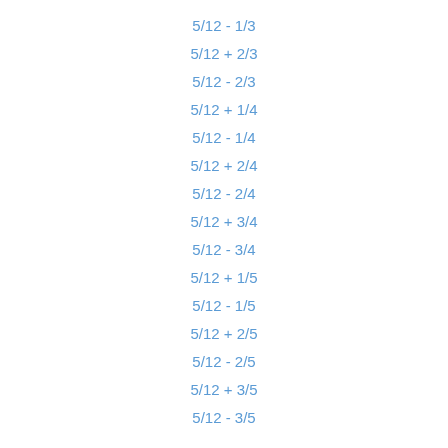5/12 - 1/3
5/12 + 2/3
5/12 - 2/3
5/12 + 1/4
5/12 - 1/4
5/12 + 2/4
5/12 - 2/4
5/12 + 3/4
5/12 - 3/4
5/12 + 1/5
5/12 - 1/5
5/12 + 2/5
5/12 - 2/5
5/12 + 3/5
5/12 - 3/5